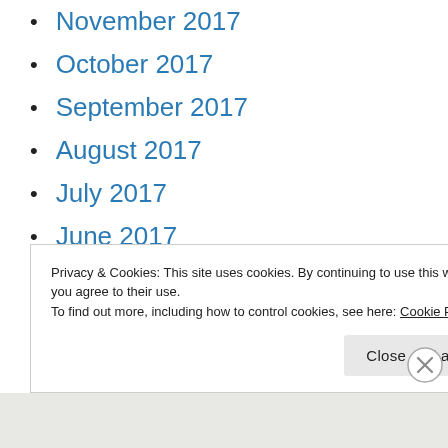November 2017
October 2017
September 2017
August 2017
July 2017
June 2017
May 2017
April 2017
March 2017
Privacy & Cookies: This site uses cookies. By continuing to use this website, you agree to their use.
To find out more, including how to control cookies, see here: Cookie Policy
Close and accept